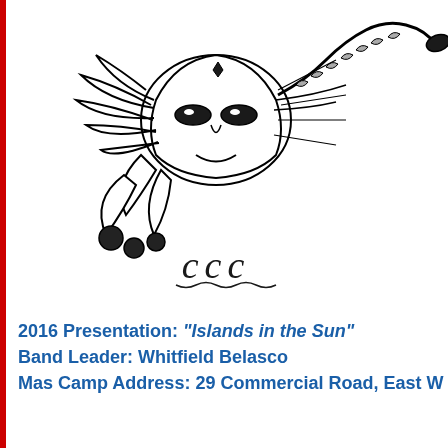[Figure (illustration): Black and white illustration of a carnival/masquerade mask with feathers and decorative elements, accompanied by the stylized text 'ccc' below it]
2016 Presentation: "Islands in the Sun"
Band Leader: Whitfield Belasco
Mas Camp Address: 29 Commercial Road, East W